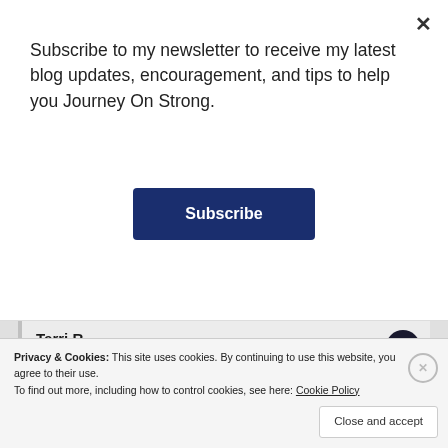Subscribe to my newsletter to receive my latest blog updates, encouragement, and tips to help you Journey On Strong.
Subscribe
Terri R.
June 29, 2017 at 10:52 pm
It’s just amazing how He does that. Thank you for sharing!
★ Like
Privacy & Cookies: This site uses cookies. By continuing to use this website, you agree to their use.
To find out more, including how to control cookies, see here: Cookie Policy
Close and accept